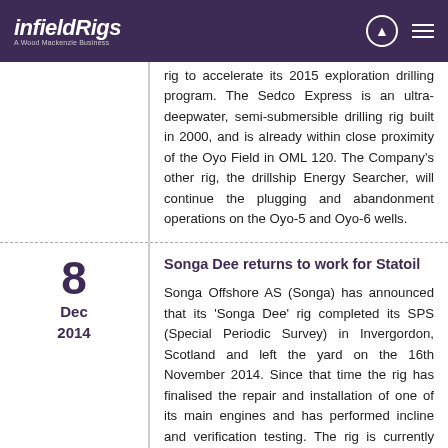infieldRigs – A Wood Mackenzie Business
rig to accelerate its 2015 exploration drilling program. The Sedco Express is an ultra-deepwater, semi-submersible drilling rig built in 2000, and is already within close proximity of the Oyo Field in OML 120. The Company's other rig, the drillship Energy Searcher, will continue the plugging and abandonment operations on the Oyo-5 and Oyo-6 wells.
Songa Dee returns to work for Statoil
8 Dec 2014
Songa Offshore AS (Songa) has announced that its 'Songa Dee' rig completed its SPS (Special Periodic Survey) in Invergordon, Scotland and left the yard on the 16th November 2014. Since that time the rig has finalised the repair and installation of one of its main engines and has performed incline and verification testing. The rig is currently located at the coast of Norway and it is awaiting improved weather conditions to move to the drilling location at the Gullfaks field to continue its work under the Statoil contract.